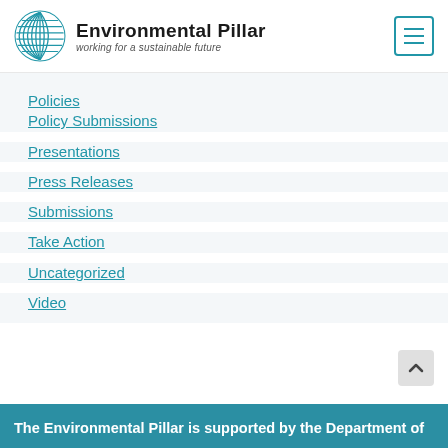[Figure (logo): Environmental Pillar logo with circular striped globe icon, text 'Environmental Pillar' and tagline 'working for a sustainable future']
Policies
Policy Submissions
Presentations
Press Releases
Submissions
Take Action
Uncategorized
Video
The Environmental Pillar is supported by the Department of